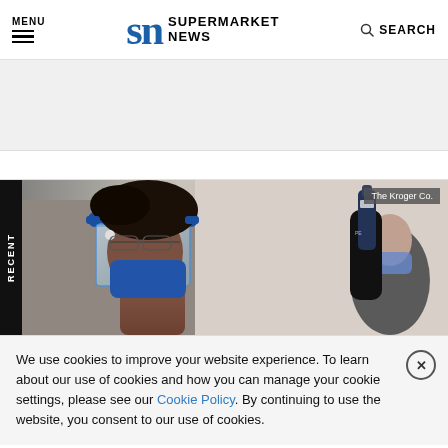MENU | SN SUPERMARKET NEWS | SEARCH
[Figure (photo): Healthcare worker wearing blue face shield and blue surgical mask, holding a medical device, with another masked person visible in background. Kroger Co. watermark in top right corner.]
We use cookies to improve your website experience. To learn about our use of cookies and how you can manage your cookie settings, please see our Cookie Policy. By continuing to use the website, you consent to our use of cookies.